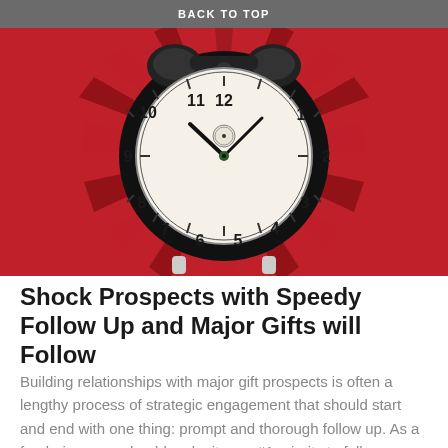BACK TO TOP
[Figure (photo): Alarm clock on a red sunburst background. Classic black twin-bell alarm clock with a white clock face showing the time approximately 10:10, set against a dramatic red and dark red radiating sunburst pattern background.]
Shock Prospects with Speedy Follow Up and Major Gifts will Follow
Building relationships with major gift prospects is often a lengthy process of strategic engagement that should start and end with one thing: prompt and thorough follow up. As a fundraiser, you should make it your #1 priority to follow up on any action items relative to conversations